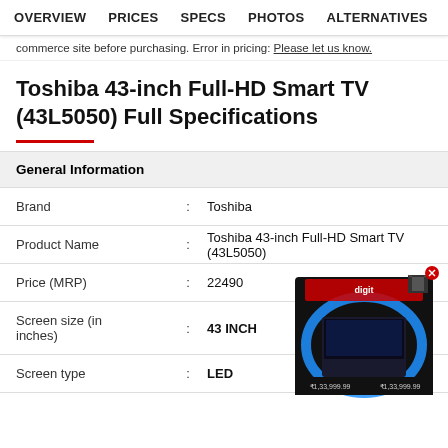OVERVIEW  PRICES  SPECS  PHOTOS  ALTERNATIVES
commerce site before purchasing. Error in pricing: Please let us know.
Toshiba 43-inch Full-HD Smart TV (43L5050) Full Specifications
| General Information |  |  |
| --- | --- | --- |
| Brand | : | Toshiba |
| Product Name | : | Toshiba 43-inch Full-HD Smart TV (43L5050) |
| Price (MRP) | : | 22490 |
| Screen size (in inches) | : | 43 INCH |
| Screen type | : | LED |
[Figure (photo): Advertisement box showing a gaming laptop product with price ₹1,33,999.99, displayed as a 3D box with blue circular design and a close/dismiss button in red.]